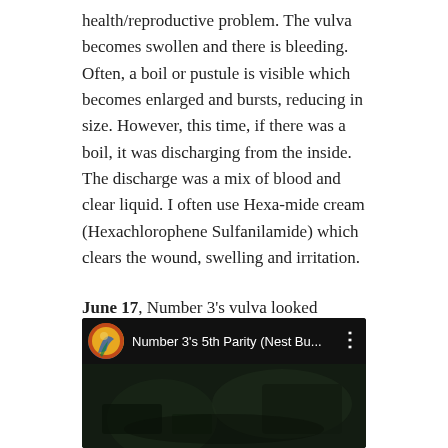health/reproductive problem. The vulva becomes swollen and there is bleeding. Often, a boil or pustule is visible which becomes enlarged and bursts, reducing in size. However, this time, if there was a boil, it was discharging from the inside. The discharge was a mix of blood and clear liquid. I often use Hexa-mide cream (Hexachlorophene Sulfanilamide) which clears the wound, swelling and irritation.
June 17, Number 3's vulva looked normal and no discharge visible.
[Figure (screenshot): YouTube video thumbnail showing a video titled 'Number 3's 5th Parity (Nest Bu...' with a circular avatar of a stylized figure on a colorful background, three-dot menu icon, and dark video preview area.]